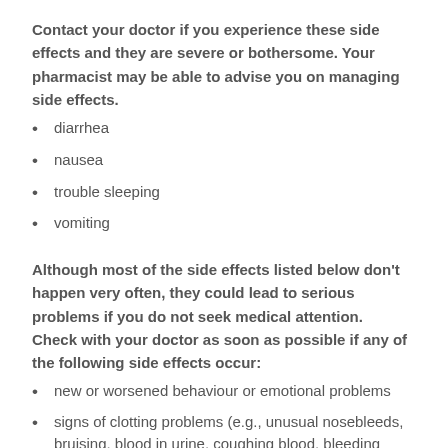Contact your doctor if you experience these side effects and they are severe or bothersome. Your pharmacist may be able to advise you on managing side effects.
diarrhea
nausea
trouble sleeping
vomiting
Although most of the side effects listed below don't happen very often, they could lead to serious problems if you do not seek medical attention.
Check with your doctor as soon as possible if any of the following side effects occur:
new or worsened behaviour or emotional problems
signs of clotting problems (e.g., unusual nosebleeds, bruising, blood in urine, coughing blood, bleeding gums, cuts that don't stop bleeding)
sleep paralysis (temporary inability to move or talk